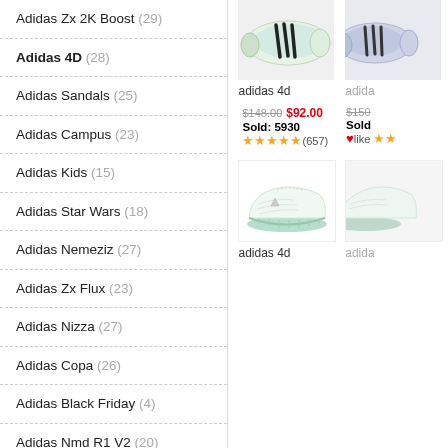Adidas Zx 2K Boost (29)
Adidas 4D (28)
Adidas Sandals (25)
Adidas Campus (23)
Adidas Kids (15)
Adidas Star Wars (18)
Adidas Nemeziz (27)
Adidas Zx Flux (23)
Adidas Nizza (27)
Adidas Copa (26)
Adidas Black Friday (4)
Adidas Nmd R1 V2 (20)
Adidas Skate Shoes (15)
Adidas Lego (19)
Adidas Copa Mundial (15)
[Figure (photo): Adidas 4D shoe product image - light green/white colorway with black stripes, top view]
adidas 4d
$148.00  $92.00
Sold: 5930
★★★★★(657)
[Figure (photo): Adidas 4D shoe product image - white with mint green sole, side view]
adidas 4d